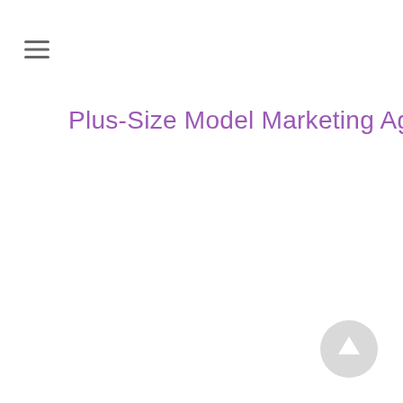[Figure (other): Hamburger menu icon — three horizontal lines stacked vertically]
Plus-Size Model Marketing Agency
[Figure (other): Circular scroll-to-top button with an upward arrow, light grey background]